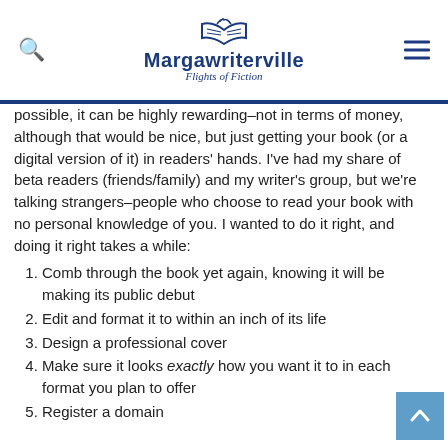Margawriterville — Flights of Fiction
possible, it can be highly rewarding–not in terms of money, although that would be nice, but just getting your book (or a digital version of it) in readers' hands. I've had my share of beta readers (friends/family) and my writer's group, but we're talking strangers–people who choose to read your book with no personal knowledge of you. I wanted to do it right, and doing it right takes a while:
Comb through the book yet again, knowing it will be making its public debut
Edit and format it to within an inch of its life
Design a professional cover
Make sure it looks exactly how you want it to in each format you plan to offer
Register a domain